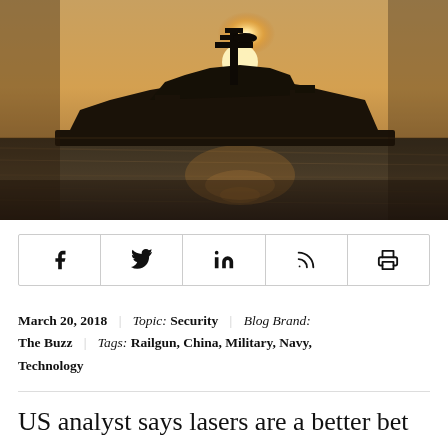[Figure (photo): Silhouette of a naval warship on the ocean at sunset, with the sun visible behind the ship's superstructure casting a golden glow across the water.]
f  ⁀  in  ⁝  🖶  (social sharing icons: Facebook, Twitter, LinkedIn, RSS, Print)
March 20, 2018 | Topic: Security | Blog Brand: The Buzz | Tags: Railgun, China, Military, Navy, Technology
US analyst says lasers are a better bet